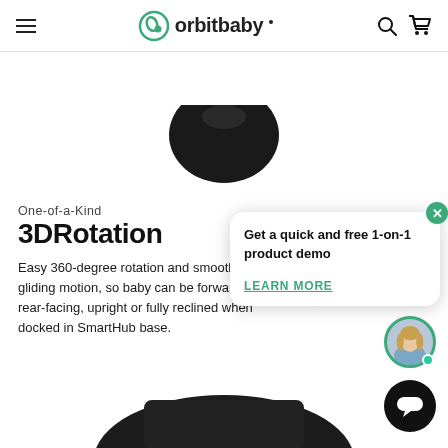orbit baby — navigation header with hamburger menu, logo, search and cart icons
[Figure (photo): Partial view of a dark baby stroller seat or component against white background, cropped at top]
One-of-a-Kind
3DRotation
Easy 360-degree rotation and smooth gliding motion, so baby can be forward or rear-facing, upright or fully reclined when docked in SmartHub base.
[Figure (screenshot): Chat popup widget: 'Get a quick and free 1-on-1 product demo' with LEARN MORE link and a green close button]
[Figure (photo): Chat agent avatar — woman with blonde hair, circular frame with green border and teal online indicator dot]
[Figure (screenshot): Black round chat button at bottom right]
[Figure (photo): Bottom portion of dark stroller visible at bottom of page]